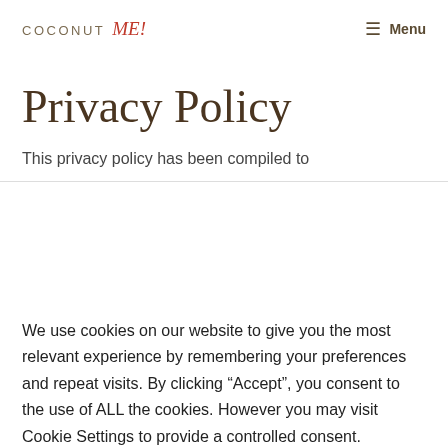COCONUT me! Menu
Privacy Policy
This privacy policy has been compiled to better serve those who are concerned with
We use cookies on our website to give you the most relevant experience by remembering your preferences and repeat visits. By clicking “Accept”, you consent to the use of ALL the cookies. However you may visit Cookie Settings to provide a controlled consent.
Cookie settings | ACCEPT